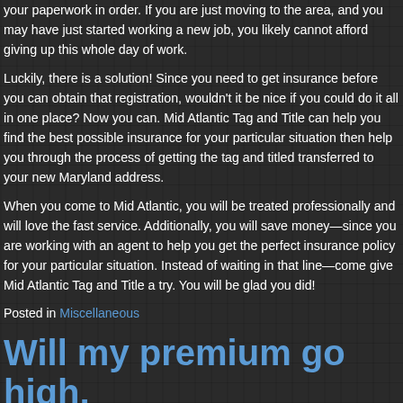your paperwork in order. If you are just moving to the area, and you may have just started working a new job, you likely cannot afford giving up this whole day of work.
Luckily, there is a solution! Since you need to get insurance before you can obtain that registration, wouldn't it be nice if you could do it all in one place? Now you can. Mid Atlantic Tag and Title can help you find the best possible insurance for your particular situation then help you through the process of getting the tag and titled transferred to your new Maryland address.
When you come to Mid Atlantic, you will be treated professionally and will love the fast service. Additionally, you will save money—since you are working with an agent to help you get the perfect insurance policy for your particular situation. Instead of waiting in that line—come give Mid Atlantic Tag and Title a try. You will be glad you did!
Posted in Miscellaneous
Will my premium go high,